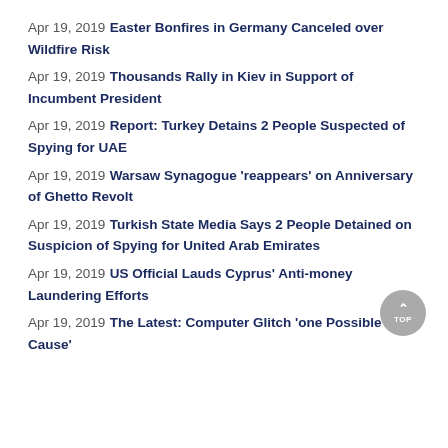Apr 19, 2019 Easter Bonfires in Germany Canceled over Wildfire Risk
Apr 19, 2019 Thousands Rally in Kiev in Support of Incumbent President
Apr 19, 2019 Report: Turkey Detains 2 People Suspected of Spying for UAE
Apr 19, 2019 Warsaw Synagogue 'reappears' on Anniversary of Ghetto Revolt
Apr 19, 2019 Turkish State Media Says 2 People Detained on Suspicion of Spying for United Arab Emirates
Apr 19, 2019 US Official Lauds Cyprus' Anti-money Laundering Efforts
Apr 19, 2019 The Latest: Computer Glitch 'one Possible Cause'